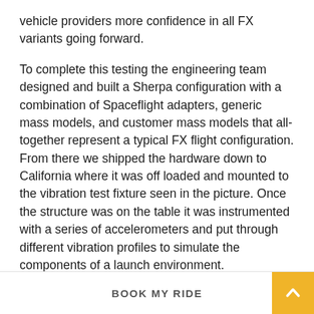vehicle providers more confidence in all FX variants going forward.
To complete this testing the engineering team designed and built a Sherpa configuration with a combination of Spaceflight adapters, generic mass models, and customer mass models that all-together represent a typical FX flight configuration. From there we shipped the hardware down to California where it was off loaded and mounted to the vibration test fixture seen in the picture. Once the structure was on the table it was instrumented with a series of accelerometers and put through different vibration profiles to simulate the components of a launch environment.
After testing, we confirm all target inputs were achieved
BOOK MY RIDE